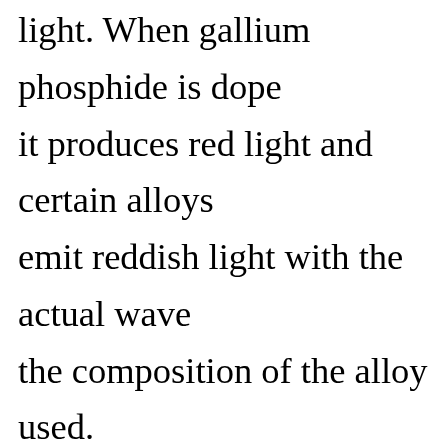light. When gallium phosphide is doped it produces red light and certain alloys emit reddish light with the actual wavelength depending on the composition of the alloy used. The optical power output of a device is, in general, by the internal geometry of the pellet and the type of package used. The geometry is the planar or flat-geometry shallow p-type diffusion is made into a